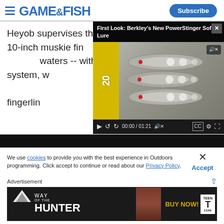GAME&FISH | Subscribe
Heyob supervises the stocking of thousands of 10-inch muskie fingerlings into the state's top muskie waters -- with a tiered system, with priority given to trophy waters such as West Branch, which receives an extra dose of muskie fingerlings.
[Figure (screenshot): Video player overlay showing 'First Look: Berkley's New PowerStinger Soft Lure' with thumbnail of fishing lures, video controls showing 00:00 / 01:21]
We use cookies to provide you with the best experience in Outdoors programming. Click accept to continue or read about our Privacy Policy.
Advertisement
[Figure (photo): Way of the Hunter video game advertisement banner with BUY NOW! text and ESRB Teen rating]